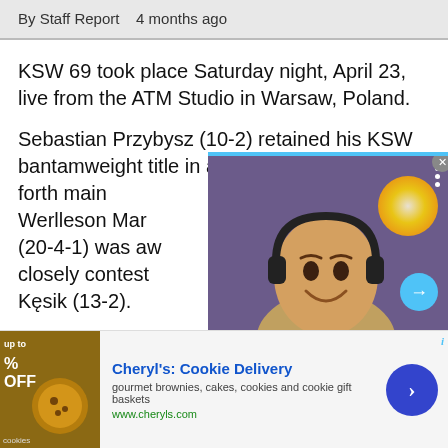By Staff Report   4 months ago
KSW 69 took place Saturday night, April 23, live from the ATM Studio in Warsaw, Poland.
Sebastian Przybysz (10-2) retained his KSW bantamweight title in an incredible back and forth main Werlleson Mar (20-4-1) was aw closely contest Kęsik (13-2).
[Figure (screenshot): Video overlay showing a person wearing headphones smiling, with text 'Brandon Lewis talks upcomin' at the bottom, a blue progress bar at top, a blue arrow button, and a glowing circular element on the right side.]
[Figure (infographic): Advertisement for Cheryl's Cookie Delivery showing 'up to % OFF' offer with cookie/brownie image on left, ad title in blue 'Cheryl's: Cookie Delivery', description 'gourmet brownies, cakes, cookies and cookie gift baskets', URL 'www.cheryls.com', and a blue circular arrow button on the right. Info icon top right.]